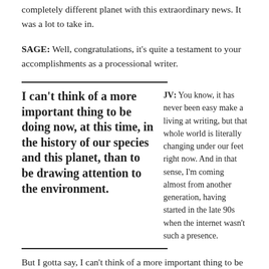completely different planet with this extraordinary news. It was a lot to take in.
SAGE: Well, congratulations, it's quite a testament to your accomplishments as a processional writer.
I can't think of a more important thing to be doing now, at this time, in the history of our species and this planet, than to be drawing attention to the environment.
JV: You know, it has never been easy make a living at writing, but that whole world is literally changing under our feet right now. And in that sense, I'm coming almost from another generation, having started in the late 90s when the internet wasn't such a presence.
But I gotta say, I can't think of a more important thing to be doing…